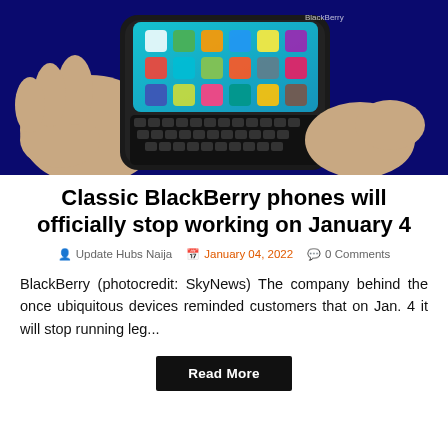[Figure (photo): A hand holding a BlackBerry smartphone with physical QWERTY keyboard. The phone screen shows colorful app icons on a teal/blue background. The background is dark blue.]
Classic BlackBerry phones will officially stop working on January 4
Update Hubs Naija   January 04, 2022   0 Comments
BlackBerry (photocredit: SkyNews) The company behind the once ubiquitous devices reminded customers that on Jan. 4 it will stop running leg...
Read More